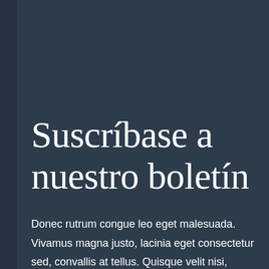Suscríbase a nuestro boletín
Donec rutrum congue leo eget malesuada. Vivamus magna justo, lacinia eget consectetur sed, convallis at tellus. Quisque velit nisi, pretium ut lacinia in, elementum id